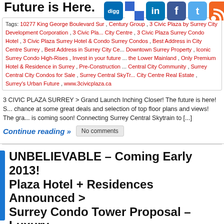Future is Here.
[Figure (screenshot): Social sharing icons: digg, delicious, linkedin, facebook, twitter, rss]
Tags: 10277 King George Boulevard Sur..., Century Group, 3 Civic Plaza by Surrey City Development Corporation, 3 Civic Plaza City Centre, 3 Civic Plaza Surrey Condo Hotel, 3 Civic Plaza Surrey Hotel & Condo Surrey Condos, Best Address in City Centre Surrey, Best Address in Surrey City Ce... Downtown Surrey Property, Iconic Surrey Condo High-Rises, Invest in your future... the Lower Mainland, Only Premium Hotel & Residence in Surrey, Pre-Construction... Central City Community, Surrey Central City Condos for Sale, Surrey Central SkyTr... City Centre Real Estate, Surrey's Urban Future, www.3civicplaza.ca
3 CIVIC PLAZA SURREY > Grand Launch Inching Closer! The future is here! S... chance at some great deals and selection of top floor plans and views! The gra... is coming soon! Connecting Surrey Central Skytrain to [...]
Continue reading »   No comments
UNBELIEVABLE – Coming Early 2013! Plaza Hotel + Residences Announced > Surrey Condo Tower Proposal – Luxury Condos PLUS Boutique Hotel Residences
Tags: 10347 City Parkway Surrey, 3 Civic Plaza by Century Group, 3 Civic Plaza by Hotel + Residences in Surrey City Centre, 3 Civic Plaza Surrey Condo Hotel, 3 Civi... Surrey Hotel & Condo Residences, 3 Civic Plaza Video, 3 Civic Plaza Walk Live Wo... Surrey City Centre, Built Green Surrey Condos, Century Group and Surrey City Dev... Hotel + Residences, City Parkway and 104th Avenue Surrey, Cotter Architects, In...